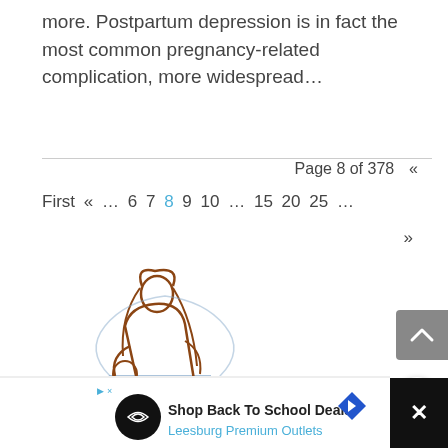more. Postpartum depression is in fact the most common pregnancy-related complication, more widespread…
Page 8 of 378 «
First « … 6 7 8 9 10 … 15 20 25 … »
[Figure (logo): Illustrated logo of a mother holding a baby, with a shield shape below, drawn in brown and blue line art style.]
[Figure (screenshot): Advertisement bar: Shop Back To School Deals - Leesburg Premium Outlets, with navigation arrow icon and close button.]